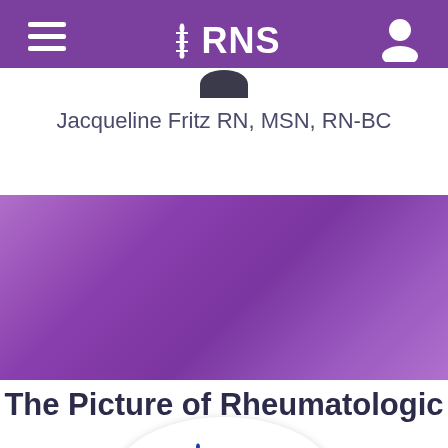RNS
Jacqueline Fritz RN, MSN, RN-BC
[Figure (logo): RNS Educational Partnership with HME (Haymarket Medical Education) logo displayed in a white oval on a purple banner background]
The Picture of Rheumatologic